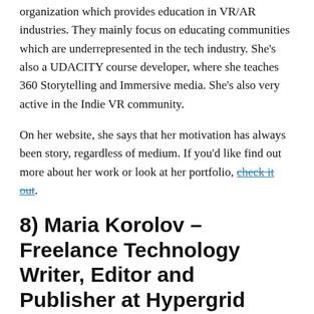organization which provides education in VR/AR industries. They mainly focus on educating communities which are underrepresented in the tech industry. She's also a UDACITY course developer, where she teaches 360 Storytelling and Immersive media. She's also very active in the Indie VR community.
On her website, she says that her motivation has always been story, regardless of medium. If you'd like find out more about her work or look at her portfolio, check it out.
8) Maria Korolov –  Freelance Technology Writer, Editor and Publisher at Hypergrid Business
@MariaKorolov    Maria wears many hats. Besides being a cybersecurity expert, she is the president and founder